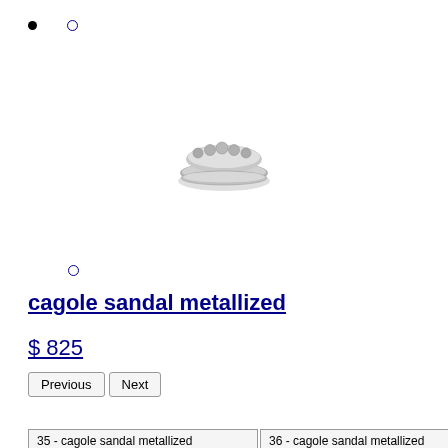[Figure (other): Navigation dots: one filled black dot and one hollow blue circle]
[Figure (photo): Product image of a silver metallic sandal/ring viewed from above, showing a low-profile metallic band.]
[Figure (other): Single hollow blue circle navigation dot]
cagole sandal metallized
$ 825
| Previous | Next |
| --- | --- |
| 35 - cagole sandal metallized | 36 - cagole sandal metallized |
| 37 - cagole sandal metallized | 38 - cagole sandal metallized |
| 39 - cagole sandal metallized | 40 - cagole sandal metallized |